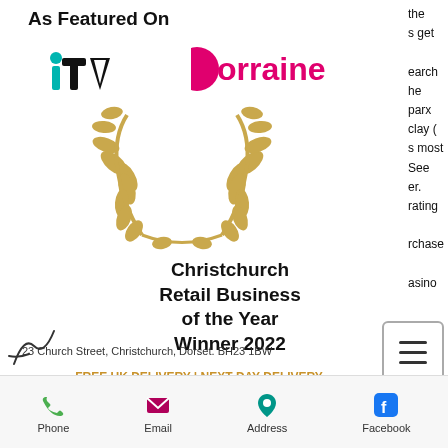As Featured On
[Figure (logo): ITV logo in teal/cyan color]
[Figure (logo): Lorraine logo in magenta/pink color]
[Figure (illustration): Golden laurel wreath award illustration]
Christchurch Retail Business of the Year Winner 2022
23 Church Street, Christchurch, Dorset. BH23 1BW
FREE UK DELIVERY | NEXT DAY DELIVERY AVAILABLE | WE SHIP WORLDWIDE
the
s get

search
he
parx
clay (
s most
See
er.
rating

purchase

asino
[Figure (other): Hamburger menu icon in a bordered box]
Phone  Email  Address  Facebook